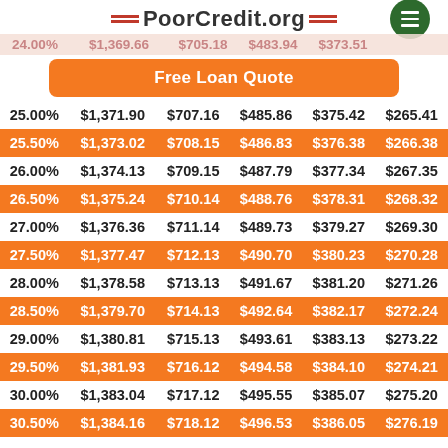PoorCredit.org
24.00% $1,369.66 $705.18 $483.94 $373.51
Free Loan Quote
| Rate | 1 Year | 2 Years | 3 Years | 4 Years | 5 Years |
| --- | --- | --- | --- | --- | --- |
| 25.00% | $1,371.90 | $707.16 | $485.86 | $375.42 | $265.41 |
| 25.50% | $1,373.02 | $708.15 | $486.83 | $376.38 | $266.38 |
| 26.00% | $1,374.13 | $709.15 | $487.79 | $377.34 | $267.35 |
| 26.50% | $1,375.24 | $710.14 | $488.76 | $378.31 | $268.32 |
| 27.00% | $1,376.36 | $711.14 | $489.73 | $379.27 | $269.30 |
| 27.50% | $1,377.47 | $712.13 | $490.70 | $380.23 | $270.28 |
| 28.00% | $1,378.58 | $713.13 | $491.67 | $381.20 | $271.26 |
| 28.50% | $1,379.70 | $714.13 | $492.64 | $382.17 | $272.24 |
| 29.00% | $1,380.81 | $715.13 | $493.61 | $383.13 | $273.22 |
| 29.50% | $1,381.93 | $716.12 | $494.58 | $384.10 | $274.21 |
| 30.00% | $1,383.04 | $717.12 | $495.55 | $385.07 | $275.20 |
| 30.50% | $1,384.16 | $718.12 | $496.53 | $386.05 | $276.19 |